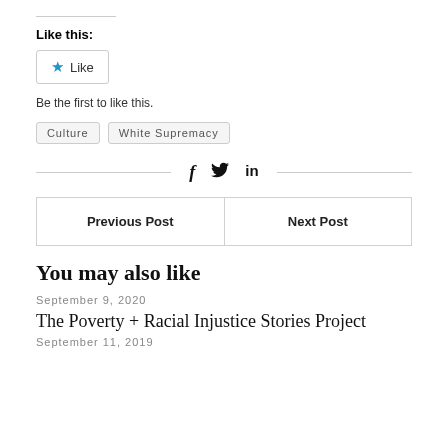Like this:
[Figure (other): Like button with blue star icon]
Be the first to like this.
Culture
White Supremacy
[Figure (other): Social share icons: f (Facebook), twitter bird, in (LinkedIn)]
| Previous Post | Next Post |
| --- | --- |
|  |
You may also like
September 9, 2020
The Poverty + Racial Injustice Stories Project
September 11, 2019